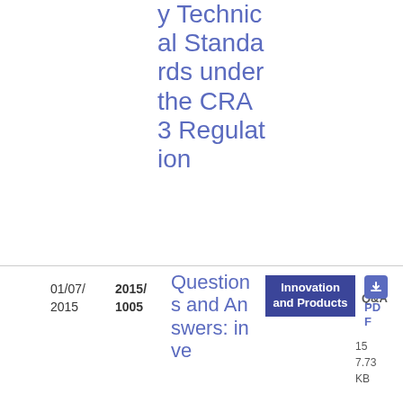y Technical Standards under the CRA 3 Regulation
| Date | Number | Title | Category | Type | Format | Pages | Size |
| --- | --- | --- | --- | --- | --- | --- | --- |
| 01/07/2015 | 2015/1005 | Questions and Answers: inve... | Innovation and Products | Q&A | PDF | 15 | 7.73 KB |